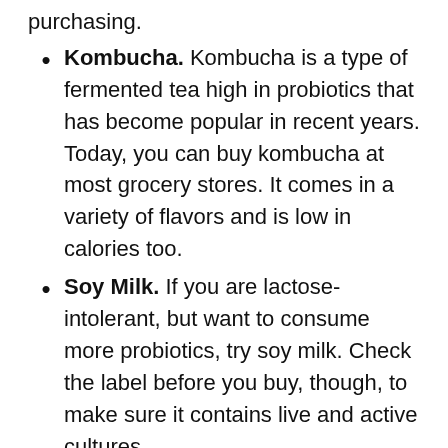purchasing.
Kombucha. Kombucha is a type of fermented tea high in probiotics that has become popular in recent years. Today, you can buy kombucha at most grocery stores. It comes in a variety of flavors and is low in calories too.
Soy Milk. If you are lactose-intolerant, but want to consume more probiotics, try soy milk. Check the label before you buy, though, to make sure it contains live and active cultures.
If you have tried the foods on the list and are having a hard time finding ones you like, you can still add probiotics to your diet by taking probiotic supplements. However, before you do, make sure to check with your doctor before